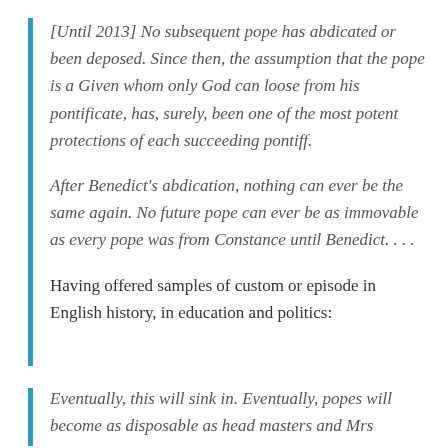[Until 2013] No subsequent pope has abdicated or been deposed. Since then, the assumption that the pope is a Given whom only God can loose from his pontificate, has, surely, been one of the most potent protections of each succeeding pontiff.
After Benedict's abdication, nothing can ever be the same again. No future pope can ever be as immovable as every pope was from Constance until Benedict. . . .
Having offered samples of custom or episode in English history, in education and politics:
Eventually, this will sink in. Eventually, popes will become as disposable as head masters and Mrs